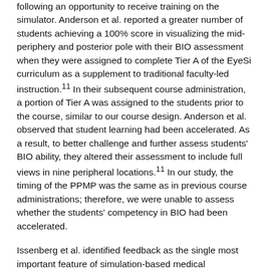following an opportunity to receive training on the simulator. Anderson et al. reported a greater number of students achieving a 100% score in visualizing the mid-periphery and posterior pole with their BIO assessment when they were assigned to complete Tier A of the EyeSi curriculum as a supplement to traditional faculty-led instruction.11 In their subsequent course administration, a portion of Tier A was assigned to the students prior to the course, similar to our course design. Anderson et al. observed that student learning had been accelerated. As a result, to better challenge and further assess students' BIO ability, they altered their assessment to include full views in nine peripheral locations.11 In our study, the timing of the PPMP was the same as in previous course administrations; therefore, we were unable to assess whether the students' competency in BIO had been accelerated.
Issenberg et al. identified feedback as the single most important feature of simulation-based medical education.4 After completing Tiers A and B of the EyeSi curriculum (Figure 4 and 7), students learned to obtain views of the retina with the indirect ophthalmoscope. However, the limitation of the EyeSi curriculum was its inability to provide feedback on the other dimensions of the PLMP rubric (Figure 3), such as hand-washing, ability to hold a full view for at least three seconds, manipulation of a patient's lids and lashes and adjustment variables such as chair height and patient